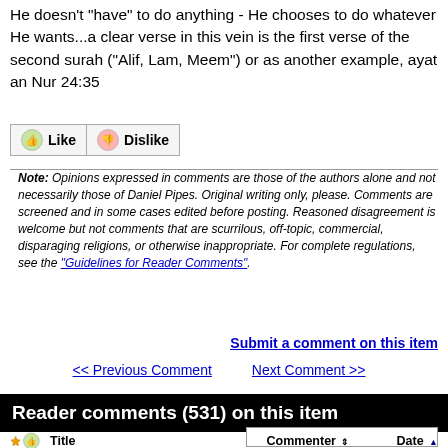He doesn't "have" to do anything - He chooses to do whatever He wants...a clear verse in this vein is the first verse of the second surah ("Alif, Lam, Meem") or as another example, ayat an Nur 24:35
[Figure (other): Like and Dislike buttons with thumbs up and thumbs down icons]
Note: Opinions expressed in comments are those of the authors alone and not necessarily those of Daniel Pipes. Original writing only, please. Comments are screened and in some cases edited before posting. Reasoned disagreement is welcome but not comments that are scurrilous, off-topic, commercial, disparaging religions, or otherwise inappropriate. For complete regulations, see the "Guidelines for Reader Comments".
Submit a comment on this item
<< Previous Comment    Next Comment >>
Reader comments (531) on this item
Filter by date, name, title:
|  | Title | Commenter | Date |
| --- | --- | --- | --- |